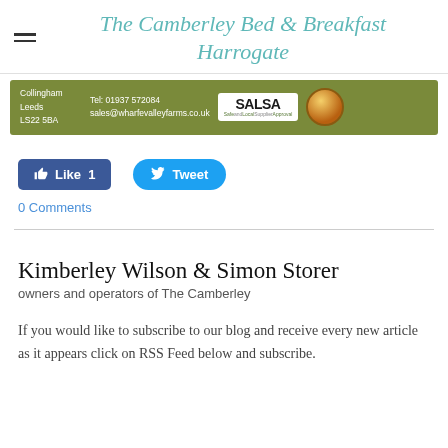The Camberley Bed & Breakfast Harrogate
[Figure (screenshot): Wharfe Valley Farms banner with address (Collingham, Leeds, LS22 5BA), Tel: 01937 572084, sales@wharfevalleyfarms.co.uk, SALSA Safe and Local Supplier Approval logo, and gold Cold Pressed Oil Producers badge, on olive green background]
[Figure (screenshot): Facebook Like button showing Like 1 count and Twitter Tweet button]
0 Comments
Kimberley Wilson & Simon Storer
owners and operators of The Camberley
If you would like to subscribe to our blog and receive every new article as it appears click on RSS Feed below and subscribe.